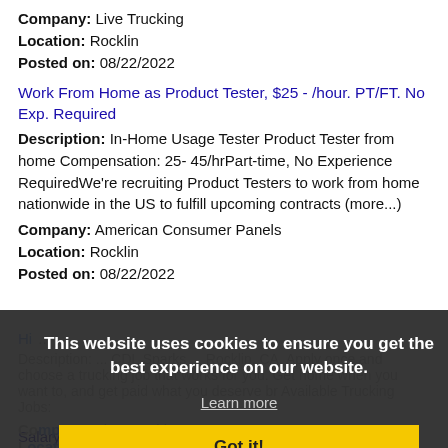Company: Live Trucking
Location: Rocklin
Posted on: 08/22/2022
Work From Home as Product Tester, $25 - /hour. PT/FT. No Exp. Required
Description: In-Home Usage Tester Product Tester from home Compensation: 25- 45/hrPart-time, No Experience RequiredWe're recruiting Product Testers to work from home nationwide in the US to fulfill upcoming contracts (more...)
Company: American Consumer Panels
Location: Rocklin
Posted on: 08/22/2022
This website uses cookies to ensure you get the best experience on our website.
Learn more
Got it!
Company: Live Trucking
Location: Rocklin
Posted on: 08/22/2022
Salary in Sparks, Nevada Area | More details for Sparks